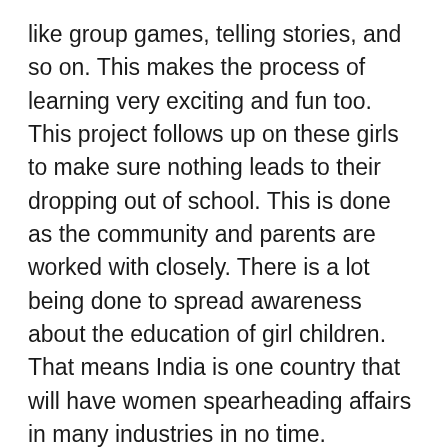like group games, telling stories, and so on. This makes the process of learning very exciting and fun too. This project follows up on these girls to make sure nothing leads to their dropping out of school. This is done as the community and parents are worked with closely. There is a lot being done to spread awareness about the education of girl children. That means India is one country that will have women spearheading affairs in many industries in no time.
Conclusion
The days of girls being married off, crying and feeling less human in India are supposed to